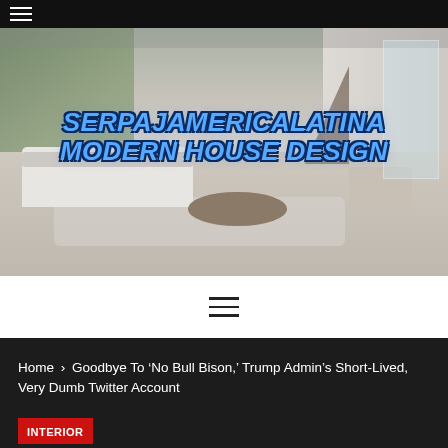[Figure (photo): Interior of a modern luxury living room with large open space, white sofa, round wood coffee table, light hardwood floors, floor-to-ceiling windows, stairs visible in background. Overlay text reads SERPAJAMERICALATINA MODERN HOUSE DESIGN in blue italic bold font.]
SERPAJAMERICALATINA MODERN HOUSE DESIGN
Home > Goodbye To ‘No Bull Bison,’ Trump Admin’s Short-Lived, Very Dumb Twitter Account
INTERIOR